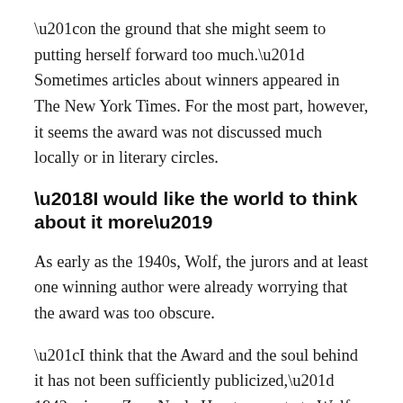“on the ground that she might seem to putting herself forward too much.” Sometimes articles about winners appeared in The New York Times. For the most part, however, it seems the award was not discussed much locally or in literary circles.
‘I would like the world to think about it more’
As early as the 1940s, Wolf, the jurors and at least one winning author were already worrying that the award was too obscure.
“I think that the Award and the soul behind it has not been sufficiently publicized,” 1942 winner Zora Neale Hurston wrote to Wolf. “Good will towards men is not popular enough. I would like the world to think about it more. Not